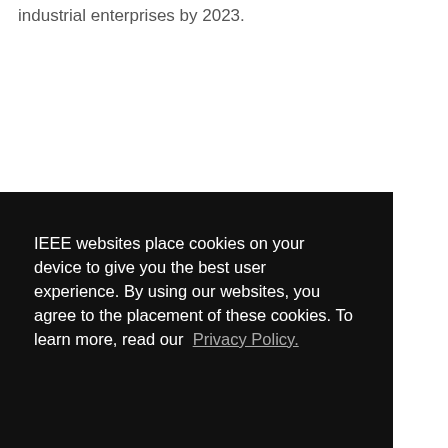industrial enterprises by 2023.
IEEE websites place cookies on your device to give you the best user experience. By using our websites, you agree to the placement of these cookies. To learn more, read our Privacy Policy.
Accept & Close